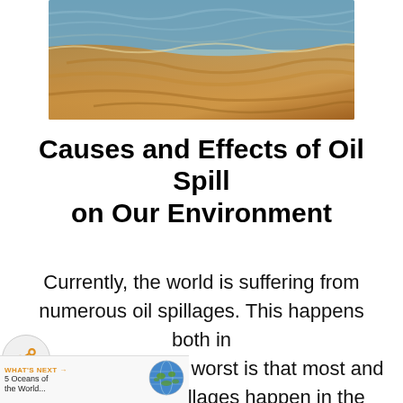[Figure (photo): Aerial or close-up photograph of an oil spill on water surface, showing brownish-orange oily sheen meeting blue-gray ocean waves on a shoreline.]
Causes and Effects of Oil Spill on Our Environment
Currently, the world is suffering from numerous oil spillages. This happens both in a and land. But the worst is that most and dangerous oil spillages happen in the sea. eadly to living organisms in water. Without much further ado I am going to tell